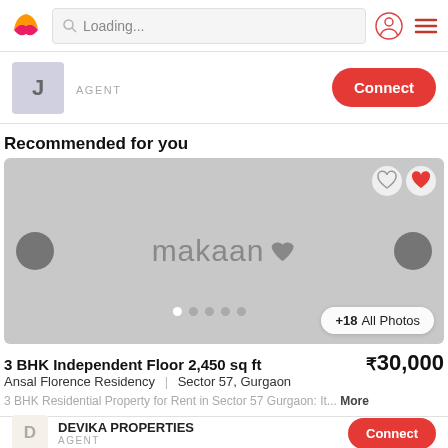Loading...
AGENT   Connect
Recommended for you
[Figure (photo): Property listing image placeholder with makaan watermark logo, navigation arrows on left and right, heart icons top-right, dot indicators at bottom, and '+18 All Photos' button]
3 BHK Independent Floor 2,450 sq ft   ₹30,000
Ansal Florence Residency  |  Sector 57, Gurgaon
3 BHK Residential Property for Rent in Sector 57 Gurgaon: It... More
DEVIKA PROPERTIES
AGENT   Connect